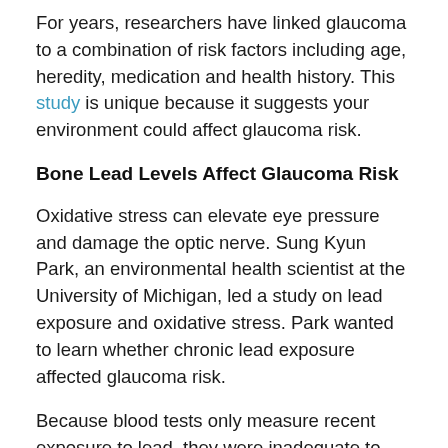For years, researchers have linked glaucoma to a combination of risk factors including age, heredity, medication and health history. This study is unique because it suggests your environment could affect glaucoma risk.
Bone Lead Levels Affect Glaucoma Risk
Oxidative stress can elevate eye pressure and damage the optic nerve. Sung Kyun Park, an environmental health scientist at the University of Michigan, led a study on lead exposure and oxidative stress. Park wanted to learn whether chronic lead exposure affected glaucoma risk.
Because blood tests only measure recent exposure to lead, they were inadequate to analyze long-term contact with lead. Park decided to use bone lead in the bone...